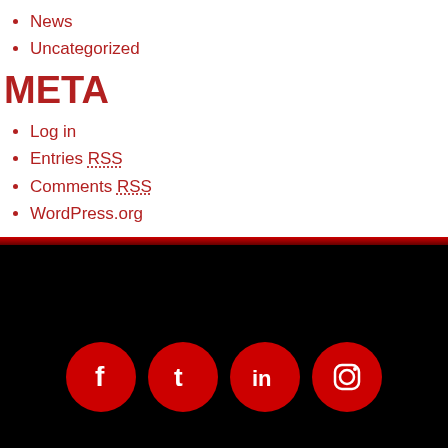News
Uncategorized
META
Log in
Entries RSS
Comments RSS
WordPress.org
[Figure (infographic): Social media icons on black background: Facebook, Twitter/t, LinkedIn, Instagram — red circular buttons]
© 2022 Thomas/Boyd Communications LLC. All rights reserved.